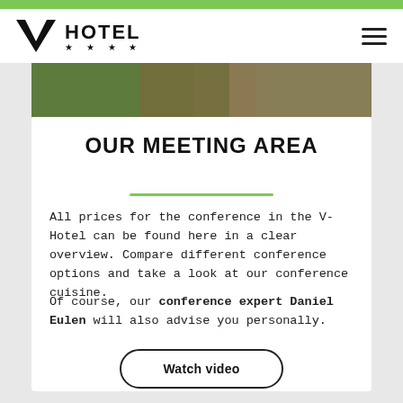V HOTEL ★ ★ ★ ★
[Figure (photo): Header photo strip showing a person in green clothing at a conference/event setting with warm background tones]
OUR MEETING AREA
All prices for the conference in the V-Hotel can be found here in a clear overview. Compare different conference options and take a look at our conference cuisine.
Of course, our conference expert Daniel Eulen will also advise you personally.
Watch video